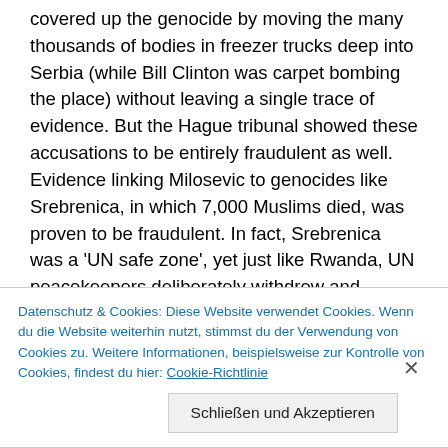covered up the genocide by moving the many thousands of bodies in freezer trucks deep into Serbia (while Bill Clinton was carpet bombing the place) without leaving a single trace of evidence. But the Hague tribunal showed these accusations to be entirely fraudulent as well. Evidence linking Milosevic to genocides like Srebrenica, in which 7,000 Muslims died, was proven to be fraudulent. In fact, Srebrenica was a 'UN safe zone', yet just like Rwanda, UN peacekeepers deliberately withdrew and allowed the massacre to unfold, then blamed Milosevic. Milosevic's exposure of UN involvement in the Srebrenica
Datenschutz & Cookies: Diese Website verwendet Cookies. Wenn du die Website weiterhin nutzt, stimmst du der Verwendung von Cookies zu. Weitere Informationen, beispielsweise zur Kontrolle von Cookies, findest du hier: Cookie-Richtlinie
Schließen und Akzeptieren